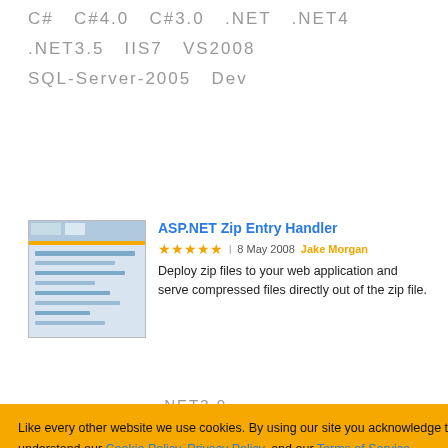C#  C#4.0  C#3.0  .NET  .NET4  .NET3.5  IIS7  VS2008  SQL-Server-2005  Dev
[Figure (screenshot): Thumbnail screenshot of ASP.NET Zip Entry Handler article page]
ASP.NET Zip Entry Handler
★★★★★  8 May 2008  Jake Morgan
Deploy zip files to your web application and serve compressed files directly out of the zip file.
Cookie banner overlay: Like every other website we use cookies. By using our site you acknowledge that you have read and understand our Cookie Policy, Privacy Policy, and our Terms of Service. Learn more. Ask me later | Decline | Allow cookies
.NET3.0  .NET2  .NET1  ASP4  ASP3.5  IIS6  IIS5.1
Web Parts
Luisa Popovic
allows generation of Web Parts based on prepared ASCX